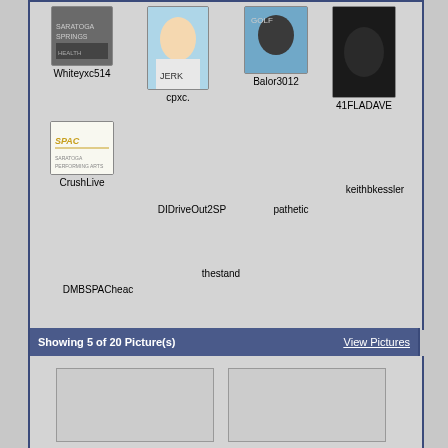[Figure (screenshot): Social media page section showing user avatars/profile pictures with usernames: Whiteyxc514, cpxc., Balor3012, 41FLADAVE, CrushLive, DIDriveOut2SP, pathetic, keithbkessler, DMBSPACheac, thestand]
Showing 5 of 20 Picture(s)   View Pictures
[Figure (photo): Two blank/placeholder image thumbnails side by side]